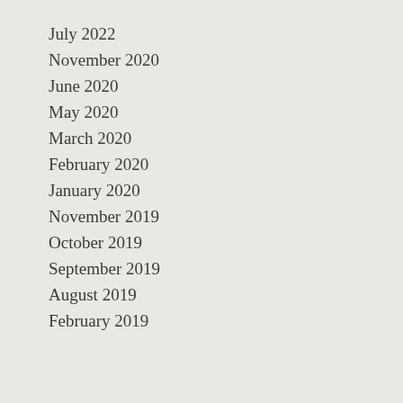July 2022
November 2020
June 2020
May 2020
March 2020
February 2020
January 2020
November 2019
October 2019
September 2019
August 2019
February 2019